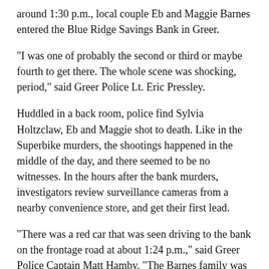around 1:30 p.m., local couple Eb and Maggie Barnes entered the Blue Ridge Savings Bank in Greer.
"I was one of probably the second or third or maybe fourth to get there. The whole scene was shocking, period," said Greer Police Lt. Eric Pressley.
Huddled in a back room, police find Sylvia Holtzclaw, Eb and Maggie shot to death. Like in the Superbike murders, the shootings happened in the middle of the day, and there seemed to be no witnesses. In the hours after the bank murders, investigators review surveillance cameras from a nearby convenience store, and get their first lead.
"There was a red car that was seen driving to the bank on the frontage road at about 1:24 p.m.," said Greer Police Captain Matt Hamby. "The Barnes family was seen driving three minutes later to the bank."
Based on those details, police believe the person in the red car entered the bank to rob its lone teller, Sylvia Holtzclaw.